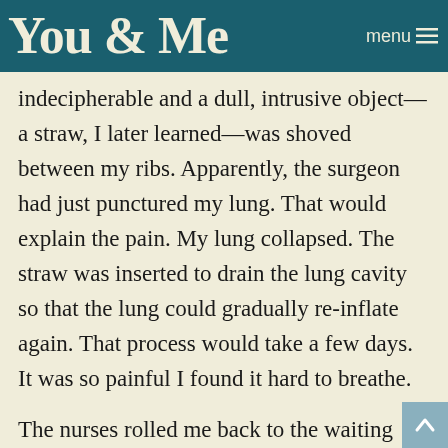You & Me
indecipherable and a dull, intrusive object—a straw, I later learned—was shoved between my ribs. Apparently, the surgeon had just punctured my lung. That would explain the pain. My lung collapsed. The straw was inserted to drain the lung cavity so that the lung could gradually re-inflate again. That process would take a few days. It was so painful I found it hard to breathe.
The nurses rolled me back to the waiting room, where they left me. Oddly, in spite of the intense pain, I wasn't angry. In retrospect, I think the linked associations of the experience—the MASH